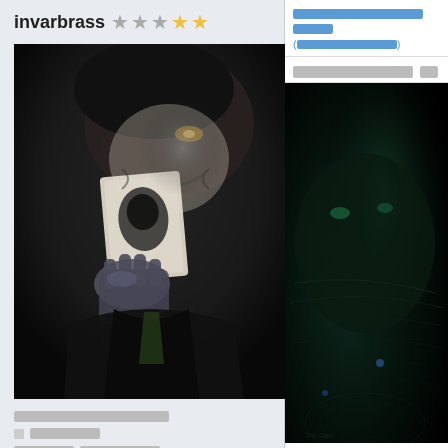invarbrass [star ratings: 3 gray stars, 2 gold stars]
[Figure (photo): Dark photo of the Joker character from Batman holding a playing card with face painted, dark background]
[redacted username/profile info line]
[redacted status]
[redacted joined date and post count info]
[redacted label]: [redacted value]
[date/time stamp redacted]
[section title redacted]
[Figure (photo): Dark atmospheric image, appears to be a dark face or creature with blue-green tones on the right panel]